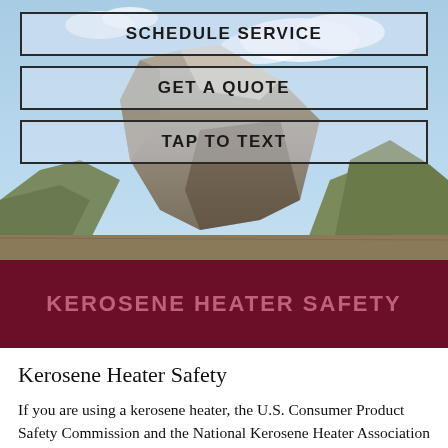[Figure (photo): Background hero image of rocky cliffs and blue sky with clouds, overlaid with three button boxes]
SCHEDULE SERVICE
GET A QUOTE
TAP TO TEXT
KEROSENE HEATER SAFETY
Kerosene Heater Safety
If you are using a kerosene heater, the U.S. Consumer Product Safety Commission and the National Kerosene Heater Association advise you to follow these suggestions in order to minimize the risk of fire and potential health effects from indoor air pollution.